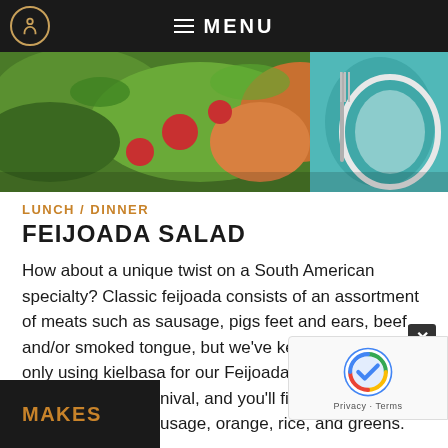≡ MENU
[Figure (photo): Food photo banner showing a colorful salad with greens, tomatoes, and other ingredients on the left, and a teal plate with fork on the right]
LUNCH / DINNER
FEIJOADA SALAD
How about a unique twist on a South American specialty? Classic feijoada consists of an assortment of meats such as sausage, pigs feet and ears, beef, and/or smoked tongue, but we've kept it simple by only using kielbasa for our Feijoada Salad. It tastes like a Brazilian carnival, and you'll find all the usual revelers, too — sausage, orange, rice, and greens. All that's m
MAKES